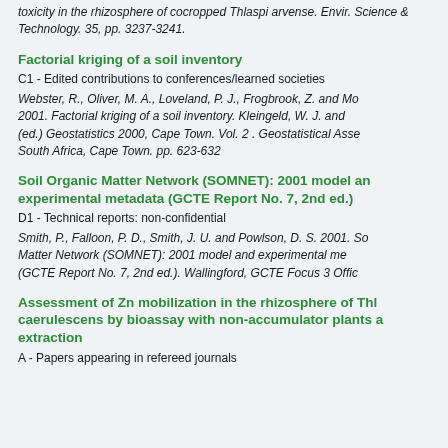toxicity in the rhizosphere of cocropped Thlaspi arvense. Envir. Science & Technology. 35, pp. 3237-3241.
Factorial kriging of a soil inventory
C1 - Edited contributions to conferences/learned societies
Webster, R., Oliver, M. A., Loveland, P. J., Frogbrook, Z. and Mo 2001. Factorial kriging of a soil inventory. Kleingeld, W. J. and (ed.) Geostatistics 2000, Cape Town. Vol. 2 . Geostatistical Asse South Africa, Cape Town. pp. 623-632
Soil Organic Matter Network (SOMNET): 2001 model and experimental metadata (GCTE Report No. 7, 2nd ed.)
D1 - Technical reports: non-confidential
Smith, P., Falloon, P. D., Smith, J. U. and Powlson, D. S. 2001. So Matter Network (SOMNET): 2001 model and experimental me (GCTE Report No. 7, 2nd ed.). Wallingford, GCTE Focus 3 Offic
Assessment of Zn mobilization in the rhizosphere of Thl caerulescens by bioassay with non-accumulator plants a extraction
A - Papers appearing in refereed journals